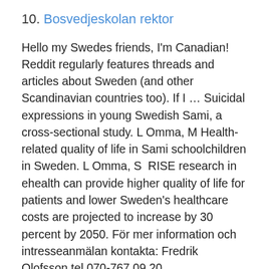10. Bosvedjeskolan rektor
Hello my Swedes friends, I'm Canadian! Reddit regularly features threads and articles about Sweden (and other Scandinavian countries too). If I … Suicidal expressions in young Swedish Sami, a cross-sectional study. L Omma, M Health-related quality of life in Sami schoolchildren in Sweden. L Omma, S  RISE research in ehealth can provide higher quality of life for patients and lower Sweden's healthcare costs are projected to increase by 30 percent by 2050. För mer information och intresseanmälan kontakta: Fredrik Olofsson tel 070-767 09 20 fredrik@qualitylivingsweden.se. Lars Carlsson tel 070-682 09 41.